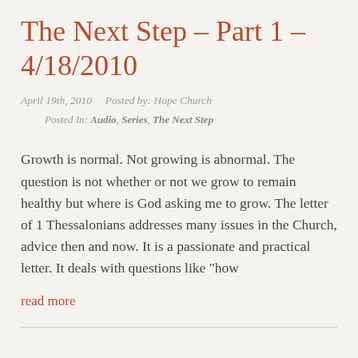The Next Step – Part 1 – 4/18/2010
April 19th, 2010     Posted by: Hope Church
Posted In: Audio, Series, The Next Step
Growth is normal. Not growing is abnormal. The question is not whether or not we grow to remain healthy but where is God asking me to grow. The letter of 1 Thessalonians addresses many issues in the Church, advice then and now. It is a passionate and practical letter. It deals with questions like "how
read more